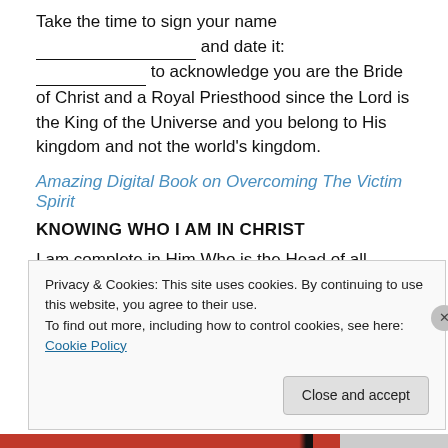Take the time to sign your name __________________ and date it: ____________ to acknowledge you are the Bride of Christ and a Royal Priesthood since the Lord is the King of the Universe and you belong to His kingdom and not the world's kingdom.
Amazing Digital Book on Overcoming The Victim Spirit
KNOWING WHO I AM IN CHRIST
I am complete in Him Who is the Head of all principality
Privacy & Cookies: This site uses cookies. By continuing to use this website, you agree to their use.
To find out more, including how to control cookies, see here: Cookie Policy